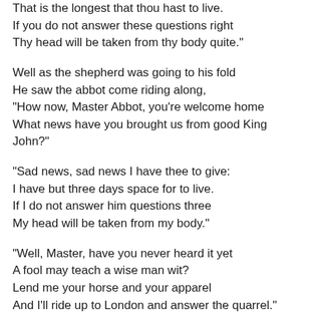That is the longest that thou hast to live.
If you do not answer these questions right
Thy head will be taken from thy body quite."
Well as the shepherd was going to his fold
He saw the abbot come riding along,
"How now, Master Abbot, you're welcome home
What news have you brought us from good King John?"
"Sad news, sad news I have thee to give:
I have but three days space for to live.
If I do not answer him questions three
My head will be taken from my body."
"Well, Master, have you never heard it yet
A fool may teach a wise man wit?
Lend me your horse and your apparel
And I'll ride up to London and answer the quarrel."
"When I am set on my steed so high,
With my crown of gold all on my head,
With my nobility, joy, and much mirth,